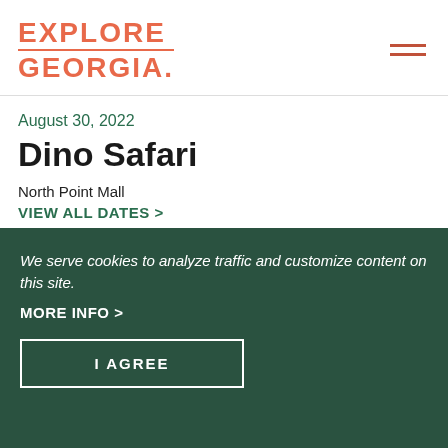[Figure (logo): Explore Georgia logo in coral/salmon color with hamburger menu icon on right]
August 30, 2022
Dino Safari
North Point Mall
VIEW ALL DATES >
Alpharetta
[Figure (illustration): Small partially visible icon/badge in coral color]
We serve cookies to analyze traffic and customize content on this site.
MORE INFO >
I AGREE